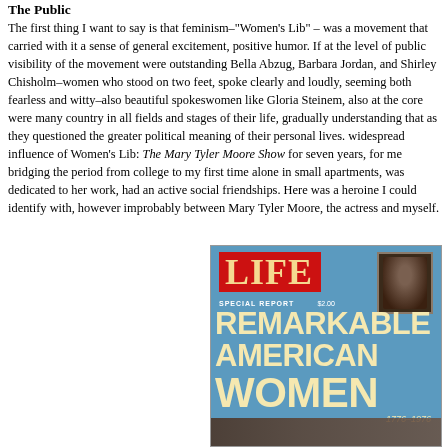The Public
The first thing I want to say is that feminism–"Women's Lib" – was a movement that carried with it a sense of general excitement, positive humor. If at the level of public visibility of the movement were outstanding Bella Abzug, Barbara Jordan, and Shirley Chisholm–women who stood on two feet, spoke clearly and loudly, seeming both fearless and witty–also beautiful spokeswomen like Gloria Steinem, also at the core were many country in all fields and stages of their life, gradually understanding that as they questioned the greater political meaning of their personal lives. widespread influence of Women's Lib: The Mary Tyler Moore Show for seven years, for me bridging the period from college to my first time alone in small apartments, was dedicated to her work, had an active social friendships. Here was a heroine I could identify with, however improbably between Mary Tyler Moore, the actress and myself.
[Figure (photo): Cover of LIFE magazine special report titled 'Remarkable American Women 1776-1976' with blue background, LIFE logo in red, large cream-colored text, a small portrait photograph in the upper right corner, and figures visible at the bottom.]